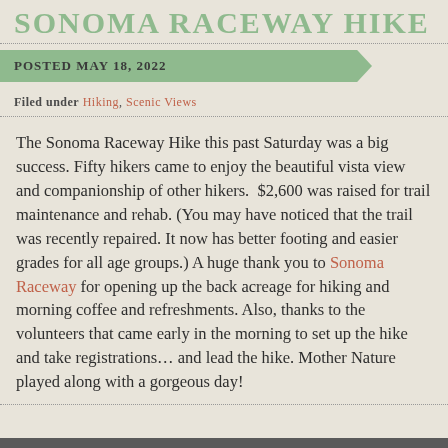SONOMA RACEWAY HIKE
POSTED MAY 18, 2022
Filed under Hiking, Scenic Views
The Sonoma Raceway Hike this past Saturday was a big success. Fifty hikers came to enjoy the beautiful vista view and companionship of other hikers. $2,600 was raised for trail maintenance and rehab. (You may have noticed that the trail was recently repaired. It now has better footing and easier grades for all age groups.) A huge thank you to Sonoma Raceway for opening up the back acreage for hiking and morning coffee and refreshments. Also, thanks to the volunteers that came early in the morning to set up the hike and take registrations… and lead the hike. Mother Nature played along with a gorgeous day!